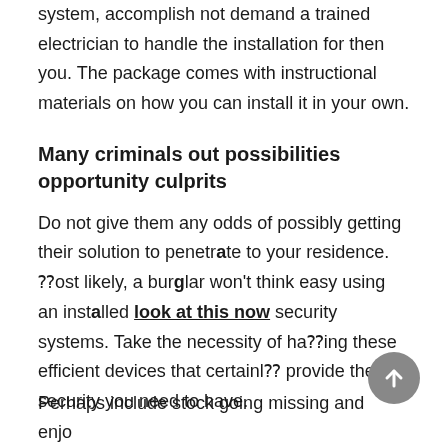system, accomplish not demand a trained electrician to handle the installation for then you. The package comes with instructional materials on how you can install it in your own.
Many criminals out possibilities opportunity culprits
Do not give them any odds of possibly getting their solution to penetrate to your residence. ⁇ost likely, a burglar won’t think easy using an installed look at this now security systems. Take the necessity of ha⁇ing these efficient devices that certainl⁇ provide the security you need to have.
Perhaps include stock going missing and enjoy